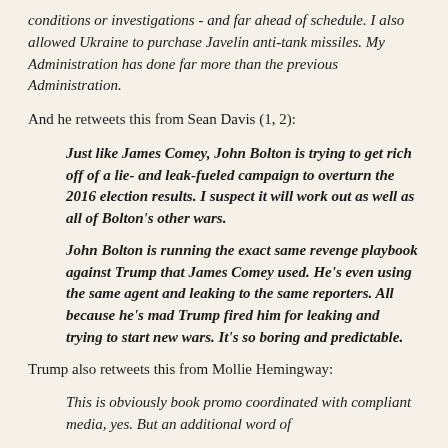conditions or investigations - and far ahead of schedule. I also allowed Ukraine to purchase Javelin anti-tank missiles. My Administration has done far more than the previous Administration.
And he retweets this from Sean Davis (1, 2):
Just like James Comey, John Bolton is trying to get rich off of a lie- and leak-fueled campaign to overturn the 2016 election results. I suspect it will work out as well as all of Bolton's other wars.
John Bolton is running the exact same revenge playbook against Trump that James Comey used. He's even using the same agent and leaking to the same reporters. All because he's mad Trump fired him for leaking and trying to start new wars. It's so boring and predictable.
Trump also retweets this from Mollie Hemingway:
This is obviously book promo coordinated with compliant media, yes. But an additional word of